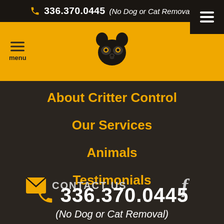336.370.0445 (No Dog or Cat Removal)
[Figure (logo): Raccoon face silhouette logo in black, centered in yellow header bar]
About Critter Control
Our Services
Animals
Testimonials
CONTACT US
336.370.0445 (No Dog or Cat Removal)